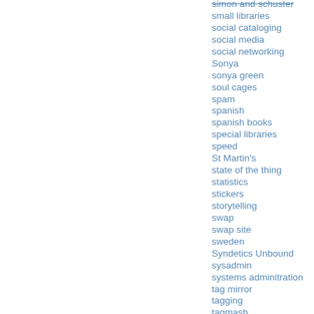simon and schuster
small libraries
social cataloging
social media
social networking
Sonya
sonya green
soul cages
spam
spanish
spanish books
special libraries
speed
St Martin's
state of the thing
statistics
stickers
storytelling
swap
swap site
sweden
Syndetics Unbound
sysadmin
systems adminitration
tag mirror
tagging
tagmash
tags
talis
talis base
talis union
talk like a pirate day
talks